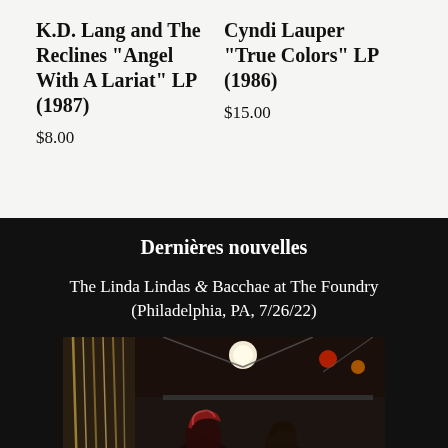K.D. Lang and The Reclines "Angel With A Lariat" LP (1987)
$8.00
Cyndi Lauper "True Colors" LP (1986)
$15.00
Dernières nouvelles
The Linda Lindas & Bacchae at The Foundry (Philadelphia, PA, 7/26/22)
[Figure (photo): Concert photo showing performers at The Foundry venue, with stage lighting, curtains, and audience members visible in a dark venue setting.]